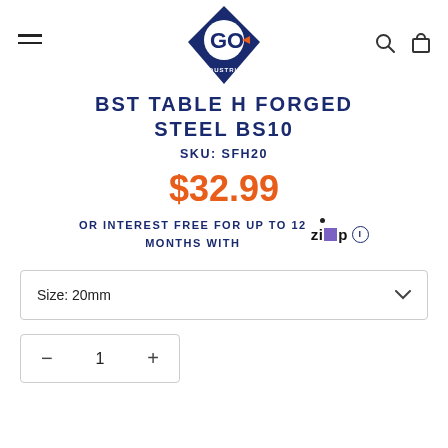GO INDUSTRIAL logo, hamburger menu, search and cart icons
BST TABLE H FORGED STEEL BS10
SKU: SFH20
$32.99
OR INTEREST FREE FOR UP TO 12 MONTHS WITH ZIP
Size: 20mm
1